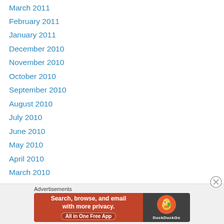March 2011
February 2011
January 2011
December 2010
November 2010
October 2010
September 2010
August 2010
July 2010
June 2010
May 2010
April 2010
March 2010
February 2010
January 2010
December 2009
November 2009
[Figure (screenshot): DuckDuckGo advertisement banner: 'Search, browse, and email with more privacy. All in One Free App' on orange background, with DuckDuckGo duck logo on dark background.]